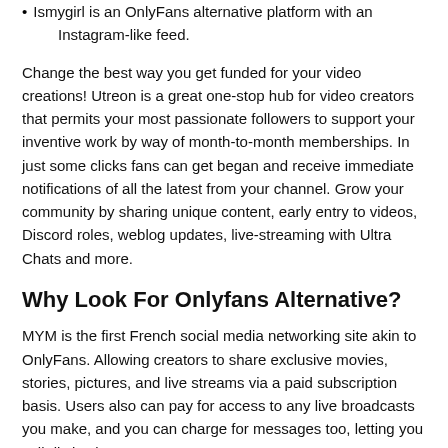Ismygirl is an OnlyFans alternative platform with an Instagram-like feed.
Change the best way you get funded for your video creations! Utreon is a great one-stop hub for video creators that permits your most passionate followers to support your inventive work by way of month-to-month memberships. In just some clicks fans can get began and receive immediate notifications of all the latest from your channel. Grow your community by sharing unique content, early entry to videos, Discord roles, weblog updates, live-streaming with Ultra Chats and more.
Why Look For Onlyfans Alternative?
MYM is the first French social media networking site akin to OnlyFans. Allowing creators to share exclusive movies, stories, pictures, and live streams via a paid subscription basis. Users also can pay for access to any live broadcasts you make, and you can charge for messages too, letting you sell distinctive